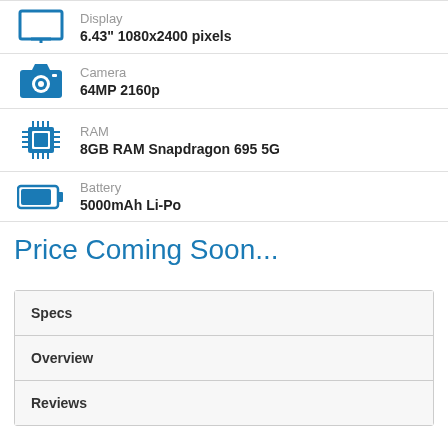Display: 6.43" 1080x2400 pixels
Camera: 64MP 2160p
RAM: 8GB RAM Snapdragon 695 5G
Battery: 5000mAh Li-Po
Price Coming Soon...
| Navigation |
| --- |
| Specs |
| Overview |
| Reviews |
More Products from OnePlus